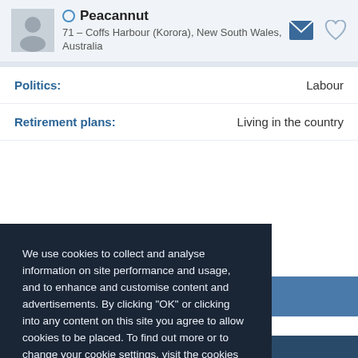Peacannut — 71 – Coffs Harbour (Korora), New South Wales, Australia
Politics: Labour
Retirement plans: Living in the country
ious; Optimistic; Excited
Very
We use cookies to collect and analyse information on site performance and usage, and to enhance and customise content and advertisements. By clicking "OK" or clicking into any content on this site you agree to allow cookies to be placed. To find out more or to change your cookie settings, visit the cookies section of our Privacy Policy.
OK
Terms of Use